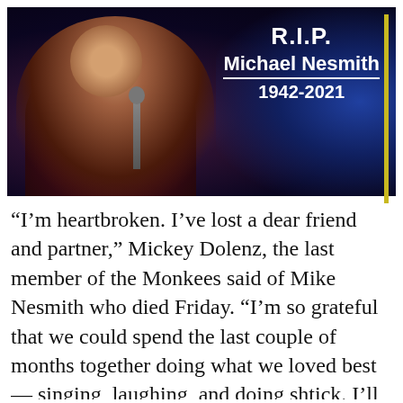[Figure (photo): Photo of Michael Nesmith performing on stage with microphone, wearing a dark jacket, against a blue-lit background. Overlaid text reads R.I.P. Michael Nesmith 1942-2021 in bold white font with a yellow accent bar on the right.]
“I’m heartbroken. I’ve lost a dear friend and partner,” Mickey Dolenz, the last member of the Monkees said of Mike Nesmith who died Friday. “I’m so grateful that we could spend the last couple of months together doing what we loved best — singing, laughing, and doing shtick. I’ll miss it all so much. Especially the laughter.”